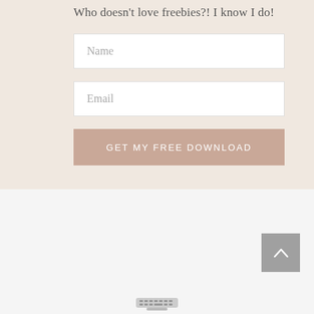Who doesn't love freebies?! I know I do!
Name
Email
GET MY FREE DOWNLOAD
[Figure (other): Back to top arrow button icon, gray square with white upward-pointing chevron]
[Figure (other): Keyboard or dock hint graphic at bottom center]